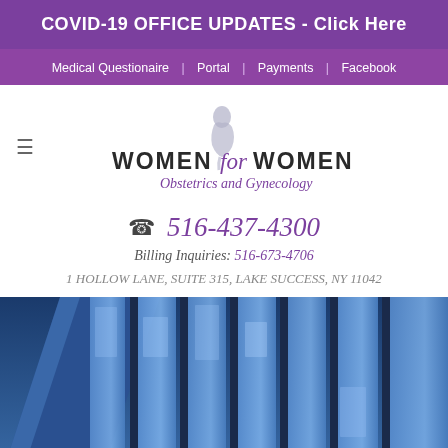COVID-19 OFFICE UPDATES - Click Here
Medical Questionaire | Portal | Payments | Facebook
[Figure (logo): Women for Women Obstetrics and Gynecology logo with stylized female silhouette]
516-437-4300
Billing Inquiries: 516-673-4706
1 HOLLOW LANE, SUITE 315, LAKE SUCCESS, NY 11042
[Figure (photo): Exterior photo of a modern glass office building with blue-tinted windows and architectural details]